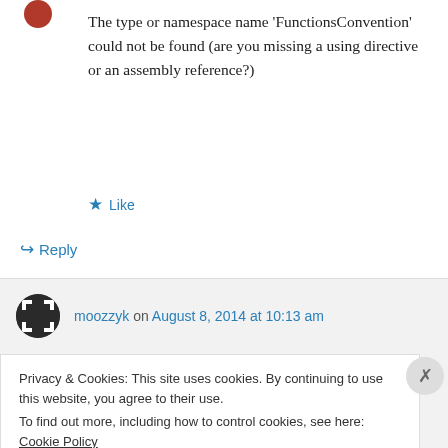The type or namespace name 'FunctionsConvention' could not be found (are you missing a using directive or an assembly reference?)
Like
Reply
moozzyk on August 8, 2014 at 10:13 am
Privacy & Cookies: This site uses cookies. By continuing to use this website, you agree to their use.
To find out more, including how to control cookies, see here: Cookie Policy
Close and accept